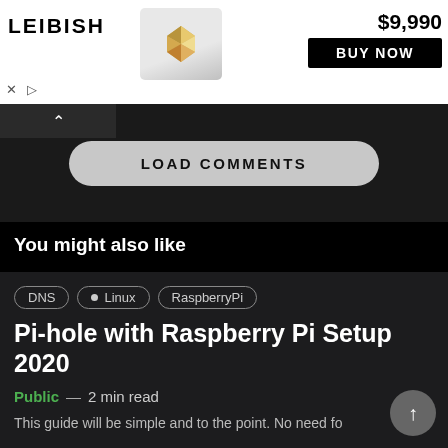[Figure (screenshot): Advertisement banner for LEIBISH showing a diamond ring product priced at $9,990 with a BUY NOW button]
LOAD COMMENTS
You might also like
DNS  Linux  RaspberryPi
Pi-hole with Raspberry Pi Setup 2020
Public — 2 min read
This guide will be simple and to the point. No need fo...